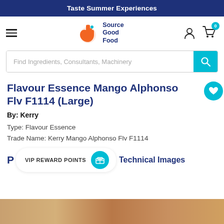Taste Summer Experiences
[Figure (logo): Source Good Food logo with orange hand icon and teal accent]
Find Ingredients, Consultants, Machinery
Flavour Essence Mango Alphonso Flv F1114 (Large)
By: Kerry
Type: Flavour Essence
Trade Name: Kerry Mango Alphonso Flv F1114
VIP REWARD POINTS
Technical Images
[Figure (photo): Partial product image strip at bottom of page]